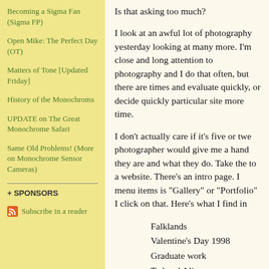Becoming a Sigma Fan (Sigma FP)
Open Mike: The Perfect Day (OT)
Matters of Tone [Updated Friday]
History of the Monochroms
UPDATE on The Great Monochrome Safari
Same Old Problems! (More on Monochrome Sensor Cameras)
+ SPONSORS
Subscribe in a reader
Is that asking too much?
I look at an awful lot of photography yesterday looking at many more. I'm close and long attention to photography and I do that often, but there are times and evaluate quickly, or decide quickly particular site more time.
I don't actually care if it's five or twenty, photographer would give me a hand they are and what they do. Take the to a website. There's an intro page. I menu items is "Gallery" or "Portfolio" I click on that. Here's what I find in
Falklands
Valentine's Day 1998
Graduate work
Ted and Alice
Montmartre